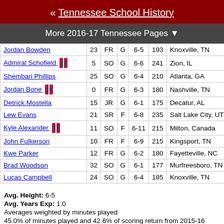« Tennessee School History
More 2016-17 Tennessee Pages ▼
| Player | # | Yr | Pos | Ht | Wt | Hometown | High School |
| --- | --- | --- | --- | --- | --- | --- | --- |
| Jordan Bowden | 23 | FR | G | 6-5 | 193 | Knoxville, TN | 22f Basketba… |
| Admiral Schofield | 5 | SO | G | 6-6 | 241 | Zion, IL | Zion-Benton… |
| Shembari Phillips | 25 | SO | G | 6-4 | 210 | Atlanta, GA | Wheeler HS |
| Jordan Bone | 0 | FR | G | 6-3 | 180 | Nashville, TN | The Enswort… |
| Detrick Mostella | 15 | JR | G | 6-1 | 175 | Decatur, AL | La Lumiere (… |
| Lew Evans | 21 | SR | F | 6-8 | 235 | Salt Lake City, UT | Highland |
| Kyle Alexander | 11 | SO | F | 6-11 | 215 | Milton, Canada | ACTS Athlete… |
| John Fulkerson | 10 | FR | F | 6-9 | 215 | Kingsport, TN | Briarcrest Ch… |
| Kwe Parker | 12 | FR | G | 6-2 | 180 | Fayetteville, NC | Wesleyan Ch… |
| Brad Woodson | 32 | SO | G | 6-1 | 177 | Murfreesboro, TN | Riverdale HS… |
| Lucas Campbell | 24 | SO | G | 6-4 | 185 | Knoxville, TN | Christian Aca… |
Avg. Height: 6-5
Avg. Years Exp: 1.0
Averages weighted by minutes played
45.0% of minutes played and 42.6% of scoring return from 2015-16 roster.